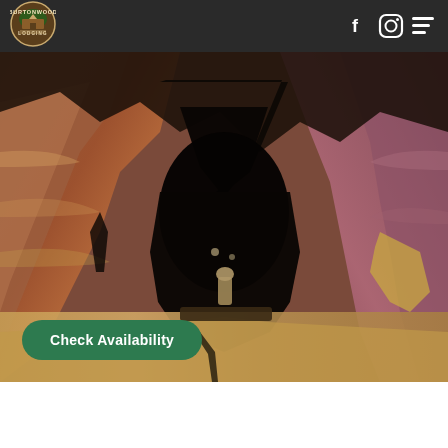[Figure (logo): Burtonwood Lodging circular logo with mountain/cabin imagery]
[Figure (photo): Cave interior photograph showing layered red and gray rock formations with dark cave opening in center and small stone figure visible inside]
Check Availability